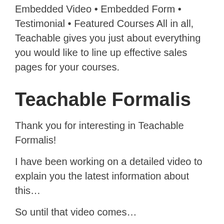Embedded Video • Embedded Form • Testimonial • Featured Courses All in all, Teachable gives you just about everything you would like to line up effective sales pages for your courses.
Teachable Formalis
Thank you for interesting in Teachable Formalis!
I have been working on a detailed video to explain you the latest information about this…
So until that video comes…
I recommend you to watch this video that is related to the topic.